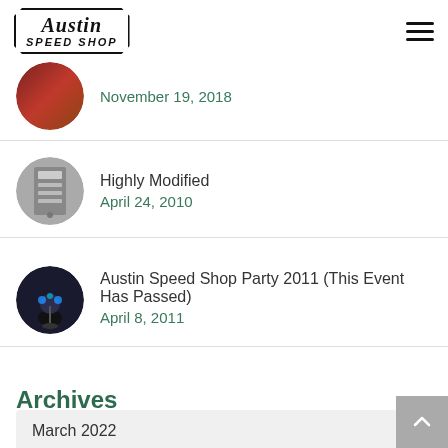Austin Speed Shop
[Figure (illustration): Circular thumbnail: partial view of red/brown item]
November 19, 2018
[Figure (photo): Circular thumbnail: black and white photo, mechanical/automotive]
Highly Modified
April 24, 2010
[Figure (photo): Circular thumbnail: dark photo, person with blue lights]
Austin Speed Shop Party 2011 (This Event Has Passed)
April 8, 2011
Archives
March 2022